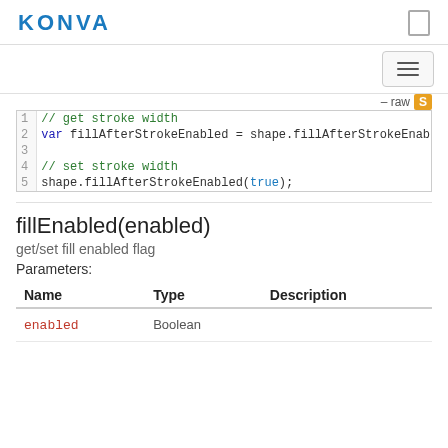KONVA
[Figure (screenshot): Code block showing fillAfterStrokeEnabled getter and setter example with line numbers 1-5]
fillEnabled(enabled)
get/set fill enabled flag
Parameters:
| Name | Type | Description |
| --- | --- | --- |
| enabled | Boolean |  |